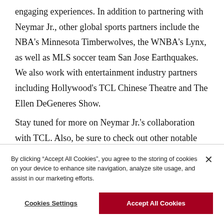engaging experiences. In addition to partnering with Neymar Jr., other global sports partners include the NBA's Minnesota Timberwolves, the WNBA's Lynx, as well as MLS soccer team San Jose Earthquakes. We also work with entertainment industry partners including Hollywood's TCL Chinese Theatre and The Ellen DeGeneres Show.

Stay tuned for more on Neymar Jr.'s collaboration with TCL. Also, be sure to check out other notable TCL
By clicking "Accept All Cookies", you agree to the storing of cookies on your device to enhance site navigation, analyze site usage, and assist in our marketing efforts.
Cookies Settings
Accept All Cookies